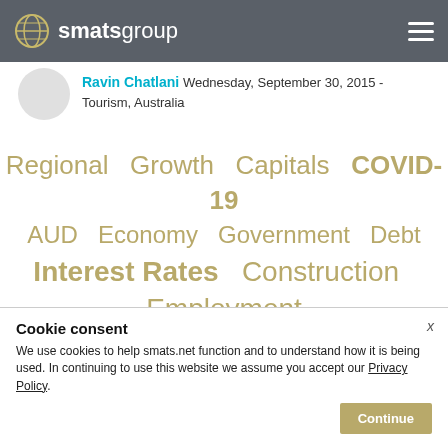smatsgroup
Ravin Chatlani  Wednesday, September 30, 2015 - Tourism, Australia
[Figure (infographic): Tag cloud with finance and property related terms: Regional, Growth, Capitals, COVID-19, AUD, Economy, Government, Debt, Interest Rates, Construction, Employment, Property, RBA, Median, Affordability, Melbourne, Perth, Banks, Auction, Currency, Rent, Melbourne]
Cookie consent
We use cookies to help smats.net function and to understand how it is being used. In continuing to use this website we assume you accept our Privacy Policy.